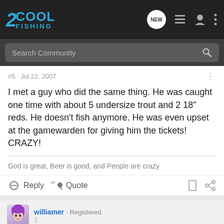2COOL FISHING
#5 · Jul 22, 2007
I met a guy who did the same thing. He was caught one time with about 5 undersize trout and 2 18" reds. He doesn't fish anymore. He was even upset at the gamewarden for giving him the tickets! CRAZY!
God is great, Beer is good, and People are crazy
Reply  Quote
williamer · Registered